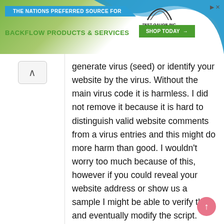[Figure (screenshot): Banner advertisement for Test Gauge Inc. — 'THE NATIONS PREFERRED SOURCE FOR BACKFLOW PRODUCTS & SERVICES' with a 'SHOP TODAY →' button]
generate virus (seed) or identify your website by the virus. Without the main virus code it is harmless. I did not remove it because it is hard to distinguish valid website comments from a virus entries and this might do more harm than good. I wouldn't worry too much because of this, however if you could reveal your website address or show us a sample I might be able to verify that and eventually modify the script.
Thanks !
↩ REPLY